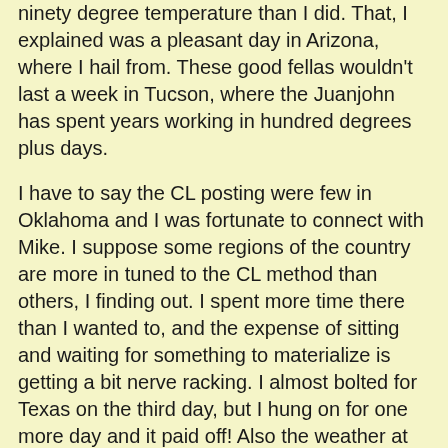ninety degree temperature than I did. That, I explained was a pleasant day in Arizona, where I hail from. These good fellas wouldn't last a week in Tucson, where the Juanjohn has spent years working in hundred degrees plus days.
I have to say the CL posting were few in Oklahoma and I was fortunate to connect with Mike. I suppose some regions of the country are more in tuned to the CL method than others, I finding out. I spent more time there than I wanted to, and the expense of sitting and waiting for something to materialize is getting a bit nerve racking. I almost bolted for Texas on the third day, but I hung on for one more day and it paid off! Also the weather at times was a concern but fortunately the worst of it missed me by a few miles.
I also continue to make new friends wherever I go, including here in OKC. Along with Mike M who hired me, I had the pleasure of working with a local man, Alan S. who assisted me for the job. We had a lot in common and shared many stories, laughs and water bresks. Having good people to work with always makes the load lighter and the day go quickly. The